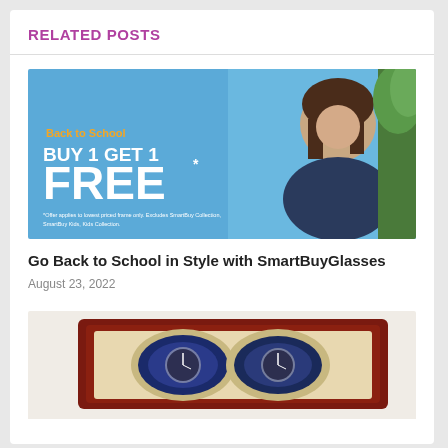RELATED POSTS
[Figure (illustration): Back to School promotional banner: blue background with smiling woman, text reads 'Back to School BUY 1 GET 1 FREE*' with small disclaimer text]
Go Back to School in Style with SmartBuyGlasses
August 23, 2022
[Figure (photo): Photo of a watch winder box with watches inside, dark red wood exterior with cream interior]